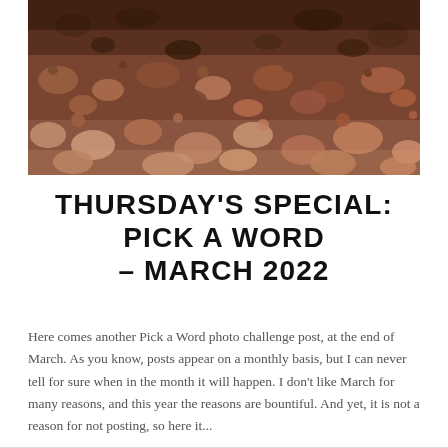[Figure (photo): Close-up photograph of rocky gravel/soil terrain with reddish-brown and tan stones of various sizes scattered across the ground]
THURSDAY'S SPECIAL: PICK A WORD – MARCH 2022
Here comes another Pick a Word photo challenge post, at the end of March. As you know, posts appear on a monthly basis, but I can never tell for sure when in the month it will happen. I don't like March for many reasons, and this year the reasons are bountiful. And yet, it is not a reason for not posting, so here it...